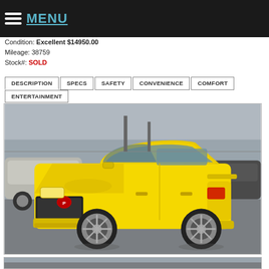MENU
Condition: Excellent $14950.00
Mileage: 38759
Stock#: SOLD
DESCRIPTION | SPECS | SAFETY | CONVENIENCE | COMFORT | ENTERTAINMENT
[Figure (photo): Yellow Pontiac G5 / Cobalt coupe photographed in a car lot, front three-quarter view, with other vehicles in background.]
[Figure (photo): Partial view of a second car photo at the bottom of the page.]